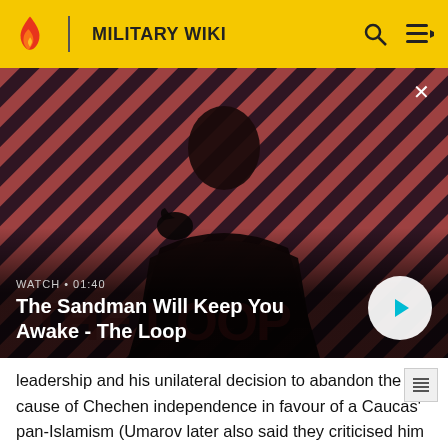MILITARY WIKI
[Figure (screenshot): Video thumbnail showing a man in dark clothing with a raven on his shoulder against a red and black diagonal striped background. Overlay text reads: WATCH • 01:40 / The Sandman Will Keep You Awake - The Loop. A circular play button is shown on the right.]
leadership and his unilateral decision to abandon the cause of Chechen independence in favour of a Caucas' pan-Islamism (Umarov later also said they criticised him for claiming responsibility for the 2010 Moscow Metro bombings). They then removed themselves and their